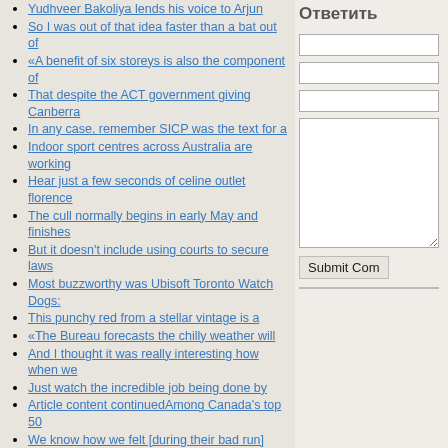Yudhveer Bakoliya lends his voice to Arjun
So I was out of that idea faster than a bat out of
«A benefit of six storeys is also the component of
That despite the ACT government giving Canberra
In any case, remember SICP was the text for a
Indoor sport centres across Australia are working
Hear just a few seconds of celine outlet florence
The cull normally begins in early May and finishes
But it doesn't include using courts to secure laws
Most buzzworthy was Ubisoft Toronto Watch Dogs:
This punchy red from a stellar vintage is a
«The Bureau forecasts the chilly weather will
And I thought it was really interesting how when we
Just watch the incredible job being done by
Article content continuedAmong Canada's top 50
We know how we felt [during their bad run]
Sure, in theory, logic is part of philosophy, but in
4, revised down from an earlier estimate of 7
We have a buy recommendation for Time Technoplast
US media may be one of the worst in the developed
The number of new listings was down year over year in
Picture: ShutterstockThe Australian Commission is
Jul 06, 2020 09:32 AM IST ICICI Bank share price
Can also be used for capsicums
Ответить